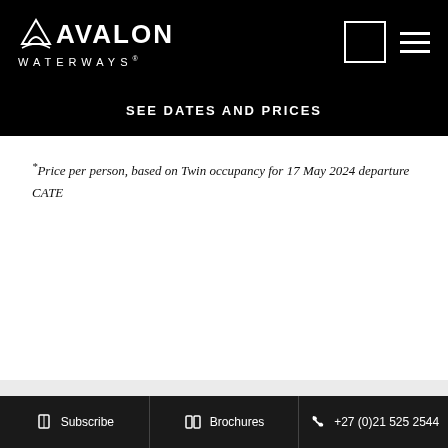AVALON WATERWAYS
SEE DATES AND PRICES
*Price per person, based on Twin occupancy for 17 May 2024 departure
CATE
ITINERARY
DOWNLOAD ITINERARY
Subscribe  Brochures  +27 (0)21 525 2544